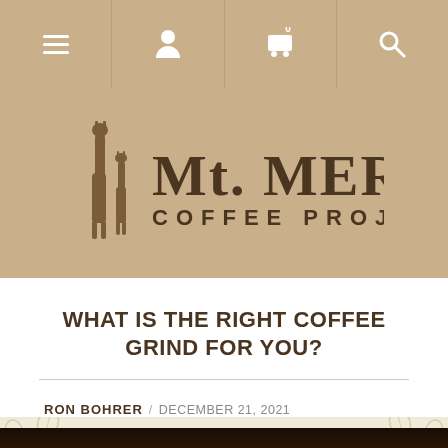[Figure (screenshot): Navigation bar with hamburger menu, user icon, cart icon with 0 badge, and search icon on tan/khaki background]
[Figure (logo): Mt. Meru Coffee Project logo with two giraffes and stylized text on tan background]
WHAT IS THE RIGHT COFFEE GRIND FOR YOU?
RON BOHRER / DECEMBER 21, 2021
[Figure (photo): Close-up photo of dark coffee grounds in a bowl or grinder, dark brown tones]